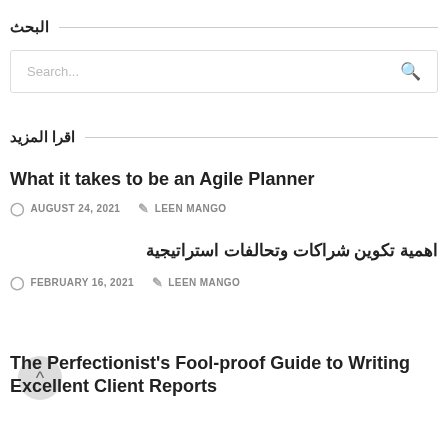البحث
Search...
اقرا المزيد
What it takes to be an Agile Planner
AUGUST 24, 2021   LEEN MANGO
اهمية تكوين شراكات وتحالفات استراتيجية
FEBRUARY 16, 2021   LEEN MANGO
The Perfectionist's Fool-proof Guide to Writing Excellent Client Reports